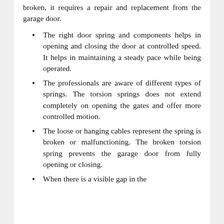broken, it requires a repair and replacement from the garage door.
The right door spring and components helps in opening and closing the door at controlled speed. It helps in maintaining a steady pace while being operated.
The professionals are aware of different types of springs. The torsion springs does not extend completely on opening the gates and offer more controlled motion.
The loose or hanging cables represent the spring is broken or malfunctioning. The broken torsion spring prevents the garage door from fully opening or closing.
When there is a visible gap in the